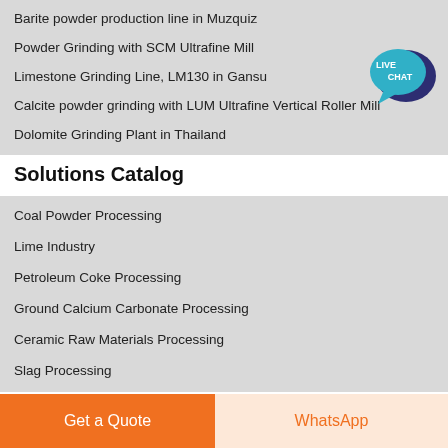Barite powder production line in Muzquiz
Powder Grinding with SCM Ultrafine Mill
Limestone Grinding Line, LM130 in Gansu
Calcite powder grinding with LUM Ultrafine Vertical Roller Mill
Dolomite Grinding Plant in Thailand
Solutions Catalog
Coal Powder Processing
Lime Industry
Petroleum Coke Processing
Ground Calcium Carbonate Processing
Ceramic Raw Materials Processing
Slag Processing
Get a Quote
WhatsApp